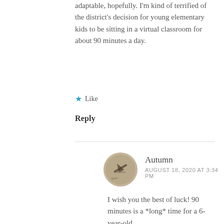adaptable, hopefully. I'm kind of terrified of the district's decision for young elementary kids to be sitting in a virtual classroom for about 90 minutes a day.
★ Like
Reply
Autumn
AUGUST 18, 2020 AT 3:34 PM
I wish you the best of luck! 90 minutes is a *long* time for a 6-year-old.
★ Like